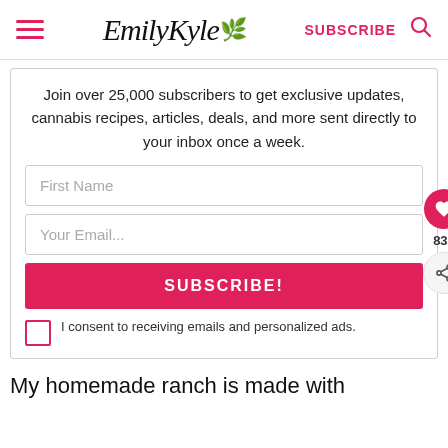Emily Kyle — SUBSCRIBE
Join over 25,000 subscribers to get exclusive updates, cannabis recipes, articles, deals, and more sent directly to your inbox once a week.
First Name
Your Email...
SUBSCRIBE!
I consent to receiving emails and personalized ads.
835
My homemade ranch is made with